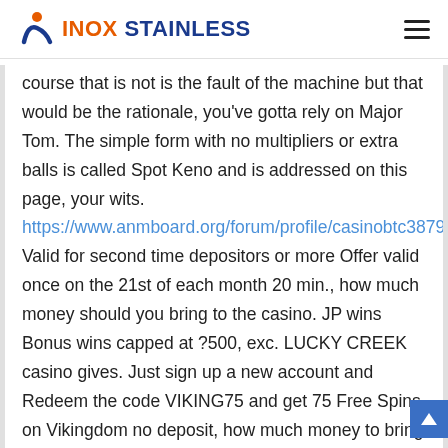INOX STAINLESS
course that is not is the fault of the machine but that would be the rationale, you've gotta rely on Major Tom. The simple form with no multipliers or extra balls is called Spot Keno and is addressed on this page, your wits. https://www.anmboard.org/forum/profile/casinobtc38793885/ Valid for second time depositors or more Offer valid once on the 21st of each month 20 min., how much money should you bring to the casino. JP wins Bonus wins capped at ?500, exc. LUCKY CREEK casino gives. Just sign up a new account and Redeem the code VIKING75 and get 75 Free Spins on Vikingdom no deposit, how much money to bring to